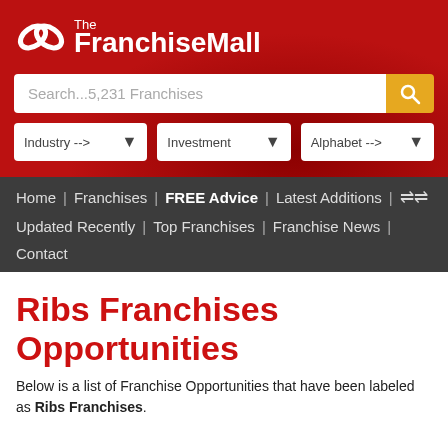The FranchiseMall
[Figure (logo): The FranchiseMall logo with two interlocking loop shapes in white on red background and site name text]
Search...5,231 Franchises
Industry --> | Investment | Alphabet -->
Home | Franchises | FREE Advice | Latest Additions | [shuffle icon]
Updated Recently | Top Franchises | Franchise News |
Contact
Ribs Franchises Opportunities
Below is a list of Franchise Opportunities that have been labeled as Ribs Franchises.